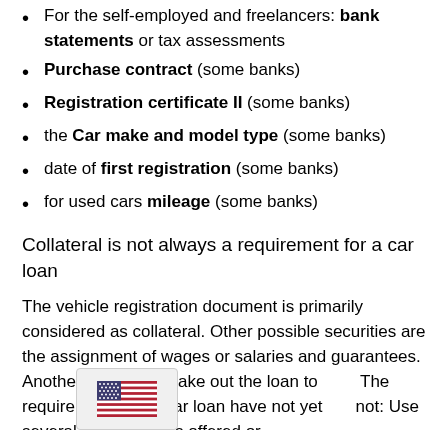For the self-employed and freelancers: bank statements or tax assessments
Purchase contract (some banks)
Registration certificate II (some banks)
the Car make and model type (some banks)
date of first registration (some banks)
for used cars mileage (some banks)
Collateral is not always a requirement for a car loan
The vehicle registration document is primarily considered as collateral. Other possible securities are the assignment of wages or salaries and guarantees. Another option is to take out the loan to... The requirements for a car loan have not yet... not: Use several of the options offered or...